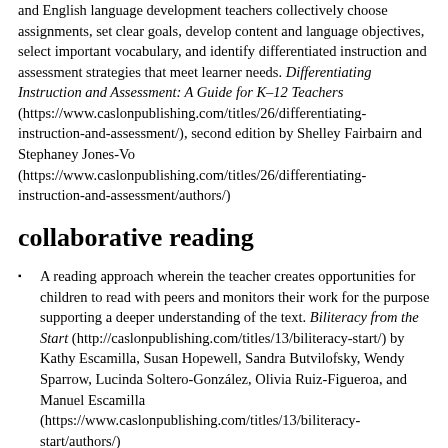and English language development teachers collectively choose assignments, set clear goals, develop content and language objectives, select important vocabulary, and identify differentiated instruction and assessment strategies that meet learner needs. Differentiating Instruction and Assessment: A Guide for K–12 Teachers (https://www.caslonpublishing.com/titles/26/differentiating-instruction-and-assessment/), second edition by Shelley Fairbairn and Stephaney Jones-Vo (https://www.caslonpublishing.com/titles/26/differentiating-instruction-and-assessment/authors/)
collaborative reading
A reading approach wherein the teacher creates opportunities for children to read with peers and monitors their work for the purpose supporting a deeper understanding of the text. Biliteracy from the Start (http://caslonpublishing.com/titles/13/biliteracy-start/) by Kathy Escamilla, Susan Hopewell, Sandra Butvilofsky, Wendy Sparrow, Lucinda Soltero-González, Olivia Ruiz-Figueroa, and Manuel Escamilla (https://www.caslonpublishing.com/titles/13/biliteracy-start/authors/)